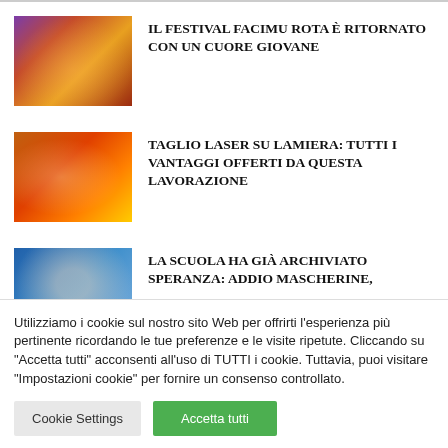[Figure (photo): Festival crowd scene with warm orange and purple lighting]
IL FESTIVAL FACIMU ROTA È RITORNATO CON UN CUORE GIOVANE
[Figure (photo): Laser cutting on metal sheet with bright orange sparks]
TAGLIO LASER SU LAMIERA: TUTTI I VANTAGGI OFFERTI DA QUESTA LAVORAZIONE
[Figure (photo): Man portrait with blue background]
LA SCUOLA HA GIÀ ARCHIVIATO SPERANZA: ADDIO MASCHERINE,
Utilizziamo i cookie sul nostro sito Web per offrirti l'esperienza più pertinente ricordando le tue preferenze e le visite ripetute. Cliccando su "Accetta tutti" acconsenti all'uso di TUTTI i cookie. Tuttavia, puoi visitare "Impostazioni cookie" per fornire un consenso controllato.